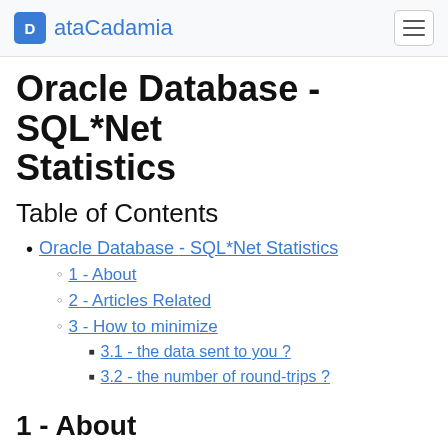ataCadamia
Oracle Database - SQL*Net Statistics
Table of Contents
Oracle Database - SQL*Net Statistics
1 - About
2 - Articles Related
3 - How to minimize
3.1 - the data sent to you ?
3.2 - the number of round-trips ?
1 - About
The SQL*Net Statistics are a part of the autotrace statistics and you can find three parts on it :